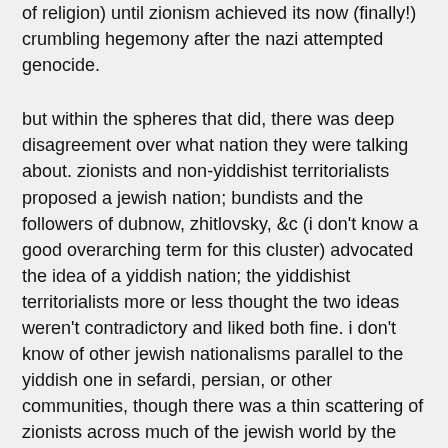of religion) until zionism achieved its now (finally!) crumbling hegemony after the nazi attempted genocide.
but within the spheres that did, there was deep disagreement over what nation they were talking about. zionists and non-yiddishist territorialists proposed a jewish nation; bundists and the followers of dubnow, zhitlovsky, &c (i don't know a good overarching term for this cluster) advocated the idea of a yiddish nation; the yiddishist territorialists more or less thought the two ideas weren't contradictory and liked both fine. i don't know of other jewish nationalisms parallel to the yiddish one in sefardi, persian, or other communities, though there was a thin scattering of zionists across much of the jewish world by the 1930s (and a stronger presence in northern/western european sefardi communities).
and, as you implied, there was some slippiness between the ideas of a yiddish and a jewish nation, especially before before the attempted genocide, when the vast majority of jews were yiddish-speakers. the